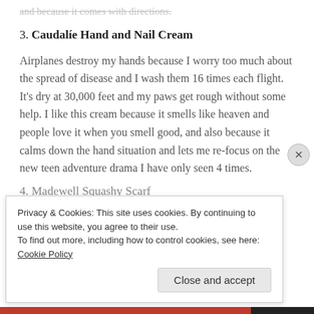and because it comes with directions.
3. Caudalíe Hand and Nail Cream
Airplanes destroy my hands because I worry too much about the spread of disease and I wash them 16 times each flight. It's dry at 30,000 feet and my paws get rough without some help. I like this cream because it smells like heaven and people love it when you smell good, and also because it calms down the hand situation and lets me re-focus on the new teen adventure drama I have only seen 4 times.
4. Madewell Squashy Scarf
Privacy & Cookies: This site uses cookies. By continuing to use this website, you agree to their use.
To find out more, including how to control cookies, see here: Cookie Policy